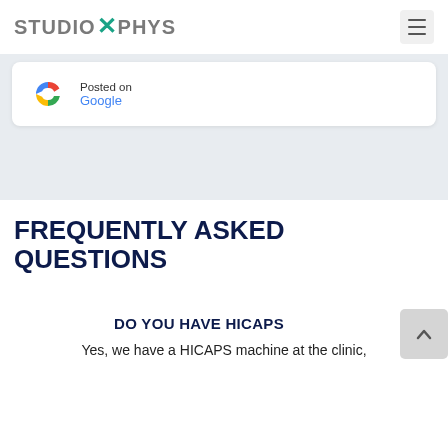STUDIO X PHYS
Posted on
Google
FREQUENTLY ASKED QUESTIONS
DO YOU HAVE HICAPS
Yes, we have a HICAPS machine at the clinic,